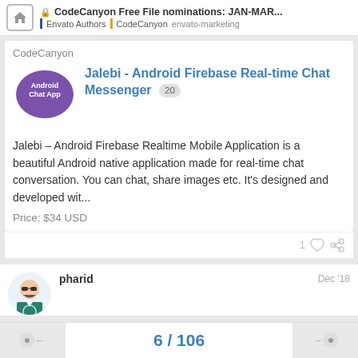CodeCanyon Free File nominations: JAN-MAR... | Envato Authors | CodeCanyon envato-marketing
CodeCanyon
[Figure (logo): Purple speech bubble logo with text 'Android Chat App']
Jalebi - Android Firebase Real-time Chat Messenger 20
Jalebi – Android Firebase Realtime Mobile Application is a beautiful Android native application made for real-time chat conversation. You can chat, share images etc. It's designed and developed wit...
Price: $34 USD
1
pharid
Dec '18
6 / 106